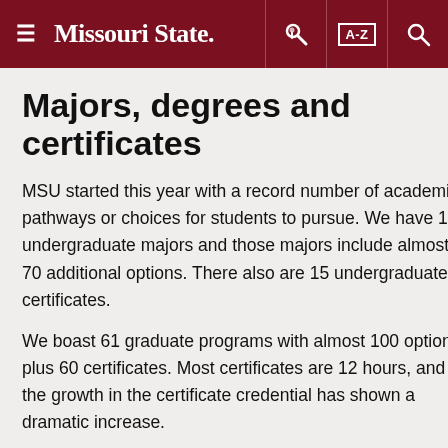≡ Missouri State. [key icon] [A-Z] [search icon]
Majors, degrees and certificates
MSU started this year with a record number of academic pathways or choices for students to pursue. We have 102 undergraduate majors and those majors include almost 70 additional options. There also are 15 undergraduate certificates.
We boast 61 graduate programs with almost 100 options, plus 60 certificates. Most certificates are 12 hours, and the growth in the certificate credential has shown a dramatic increase.
Fall 2018 enrollment highlights